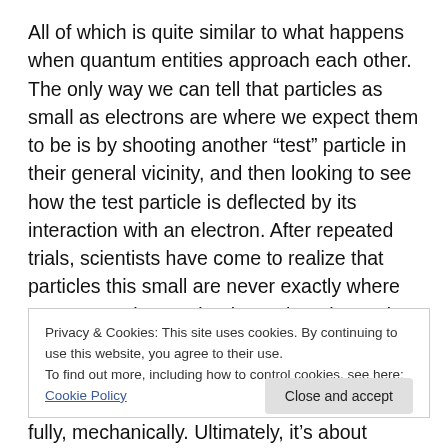All of which is quite similar to what happens when quantum entities approach each other. The only way we can tell that particles as small as electrons are where we expect them to be is by shooting another “test” particle in their general vicinity, and then looking to see how the test particle is deflected by its interaction with an electron. After repeated trials, scientists have come to realize that particles this small are never exactly where you expect them to be, but rather, they exist within a cloud of probabilities of being in one particular zone in spacetime
Privacy & Cookies: This site uses cookies. By continuing to use this website, you agree to their use.
To find out more, including how to control cookies, see here: Cookie Policy
fully, mechanically. Ultimately, it’s about probabilities and